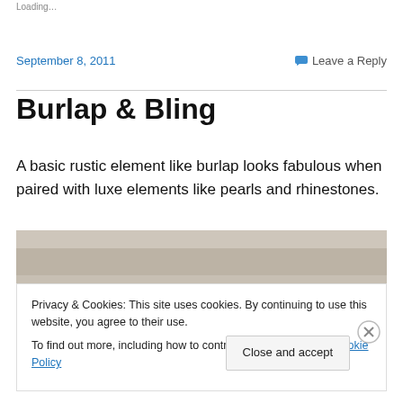Loading…
September 8, 2011
Leave a Reply
Burlap & Bling
A basic rustic element like burlap looks fabulous when paired with luxe elements like pearls and rhinestones.
[Figure (photo): Photo of burlap texture / rustic surface, partially visible at top of image area]
Privacy & Cookies: This site uses cookies. By continuing to use this website, you agree to their use.
To find out more, including how to control cookies, see here: Cookie Policy
Close and accept